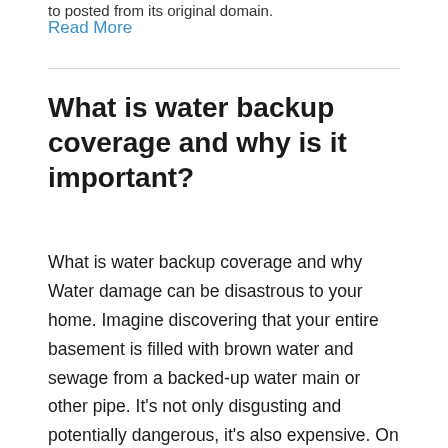to posted from its original domain.
Read More
What is water backup coverage and why is it important?
What is water backup coverage and why Water damage can be disastrous to your home. Imagine discovering that your entire basement is filled with brown water and sewage from a backed-up water main or other pipe. It's not only disgusting and potentially dangerous, it's also expensive. On average, most water backup claims cost $5,000-$10,000 to